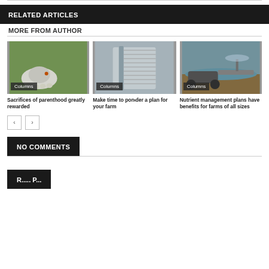RELATED ARTICLES
MORE FROM AUTHOR
[Figure (photo): White hen with baby chicks on green grass]
Columns
Sacrifices of parenthood greatly rewarded
[Figure (photo): Spiral notebook/binder close-up]
Columns
Make time to ponder a plan for your farm
[Figure (photo): Agricultural sprayer machine on field]
Columns
Nutrient management plans have benefits for farms of all sizes
NO COMMENTS
Recent Posts